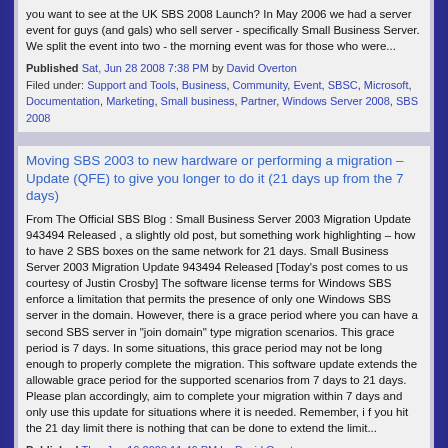you want to see at the UK SBS 2008 Launch? In May 2006 we had a server event for guys (and gals) who sell server - specifically Small Business Server. We split the event into two - the morning event was for those who were...
Published Sat, Jun 28 2008 7:38 PM by David Overton
Filed under: Support and Tools, Business, Community, Event, SBSC, Microsoft, Documentation, Marketing, Small business, Partner, Windows Server 2008, SBS 2008
Moving SBS 2003 to new hardware or performing a migration – Update (QFE) to give you longer to do it (21 days up from the 7 days)
From The Official SBS Blog : Small Business Server 2003 Migration Update 943494 Released , a slightly old post, but something work highlighting – how to have 2 SBS boxes on the same network for 21 days. Small Business Server 2003 Migration Update 943494 Released [Today's post comes to us courtesy of Justin Crosby] The software license terms for Windows SBS enforce a limitation that permits the presence of only one Windows SBS server in the domain. However, there is a grace period where you can have a second SBS server in "join domain" type migration scenarios. This grace period is 7 days. In some situations, this grace period may not be long enough to properly complete the migration. This software update extends the allowable grace period for the supported scenarios from 7 days to 21 days. Please plan accordingly, aim to complete your migration within 7 days and only use this update for situations where it is needed. Remember, i f you hit the 21 day limit there is nothing that can be done to extend the limit...
Published Thu, Jun 19 2008 11:46 PM by David Overton
Filed under: SBS 2003, Support and Tools, Community, SBSC, Microsoft, SBS 2003 R2, Small business, SBS 2008